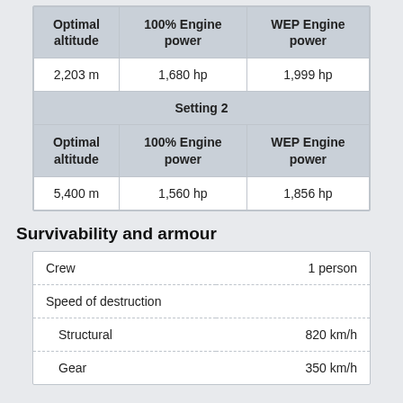| Optimal altitude | 100% Engine power | WEP Engine power |
| --- | --- | --- |
| 2,203 m | 1,680 hp | 1,999 hp |
| Setting 2 |  |  |
| Optimal altitude | 100% Engine power | WEP Engine power |
| 5,400 m | 1,560 hp | 1,856 hp |
Survivability and armour
|  |  |
| --- | --- |
| Crew | 1 person |
| Speed of destruction |  |
| Structural | 820 km/h |
| Gear | 350 km/h |